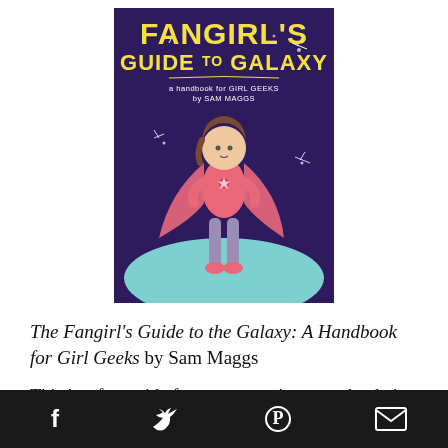[Figure (illustration): Book cover of 'The Fangirl's Guide to the Galaxy: A Handbook for Girl Geeks by Sam Maggs'. Dark purple background with a cartoon girl in a pink superhero cape standing confidently. Yellow title text at top reads 'FANGIRL'S GUIDE TO THE GALAXY' with subtitle 'a handbook for GIRL GEEKS by SAM MAGGS'.]
The Fangirl's Guide to the Galaxy: A Handbook for Girl Geeks by Sam Maggs
This is a fun guide for women trying to make their
Social sharing bar with Facebook, Twitter, Pinterest, and email icons